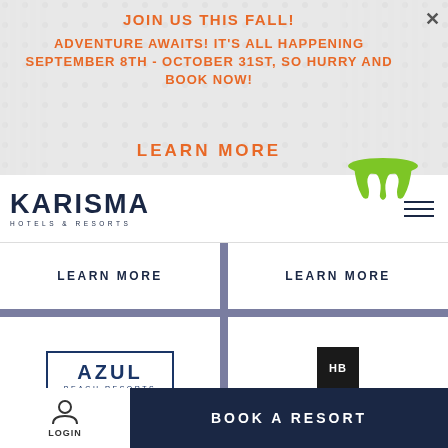JOIN US THIS FALL!
ADVENTURE AWAITS! IT'S ALL HAPPENING SEPTEMBER 8TH - OCTOBER 31ST, SO HURRY AND BOOK NOW!
LEARN MORE
[Figure (logo): Karisma Hotels & Resorts logo with hamburger menu icon]
LEARN MORE
LEARN MORE
[Figure (logo): Azul Beach Resorts by Karisma logo in rectangular border]
[Figure (logo): Hidden Beach An Natural Resort by Karisma logo with HB monogram box]
BOOK A RESORT
LOGIN